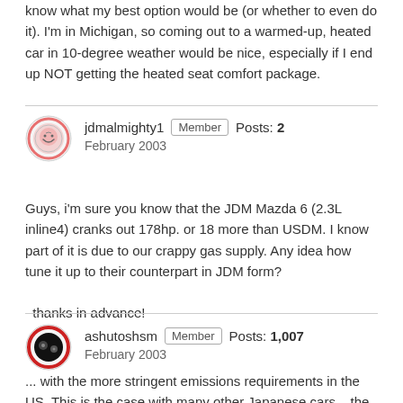know what my best option would be (or whether to even do it). I'm in Michigan, so coming out to a warmed-up, heated car in 10-degree weather would be nice, especially if I end up NOT getting the heated seat comfort package.
jdmalmighty1   Member   Posts: 2   February 2003
Guys, i'm sure you know that the JDM Mazda 6 (2.3L inline4) cranks out 178hp. or 18 more than USDM. I know part of it is due to our crappy gas supply. Any idea how tune it up to their counterpart in JDM form?

  thanks in advance!
ashutoshsm   Member   Posts: 1,007   February 2003
... with the more stringent emissions requirements in the US. This is the case with many other Japanese cars – the rated HP